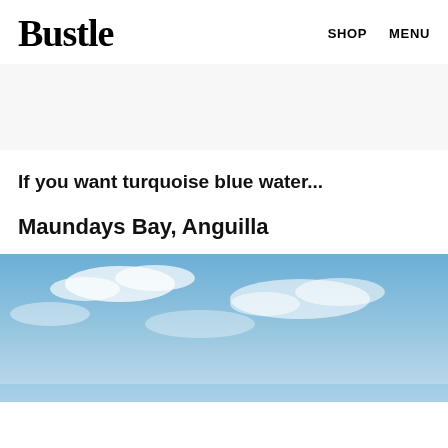Bustle  SHOP  MENU
[Figure (other): Advertisement banner placeholder with light gray background]
If you want turquoise blue water...
Maundays Bay, Anguilla
[Figure (photo): Blue sky with scattered white clouds over what appears to be a coastal scene at Maundays Bay, Anguilla]